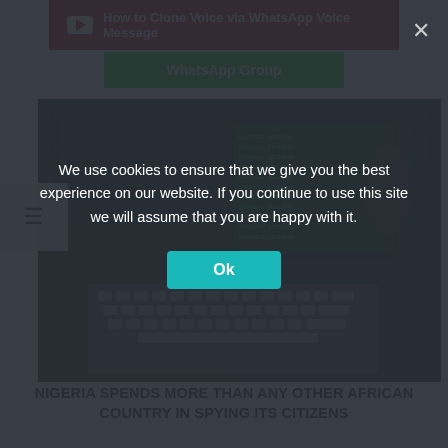[Figure (screenshot): Red YouTube-style banner with play icon and text: How to Clone Voice via WhatsApp Voice Message]
[Figure (screenshot): Green WhatsApp Group button]
[Figure (photo): Hacker-themed photo showing green matrix code overlaid on a keyboard, tablet and phone scene]
NIGERIA SPENDS MORE THAN ANY OTHER AFRICAN COUNTRY IN SPYING ITS CITIZENS
[Figure (screenshot): Partially visible red banner: TRACKING VOICE BIOMETRICS IN PHONE BANKING]
We use cookies to ensure that we give you the best experience on our website. If you continue to use this site we will assume that you are happy with it.